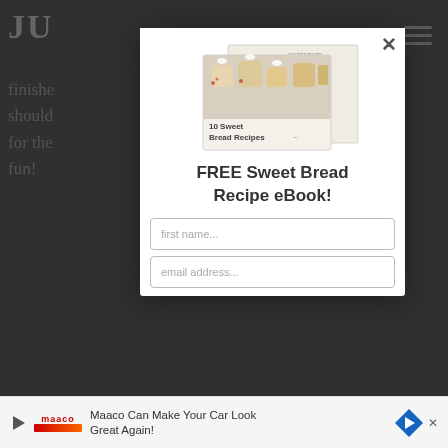JU...
finished should for the fun!
[Figure (screenshot): Modal popup showing a recipe eBook offer with a book cover image of sweet breads, a form with first name and email address fields, and a close (X) button. Background shows a dimmed blog page with partial text.]
FREE Sweet Bread Recipe eBook!
first name...
email address...
Maaco Can Make Your Car Look Great Again!